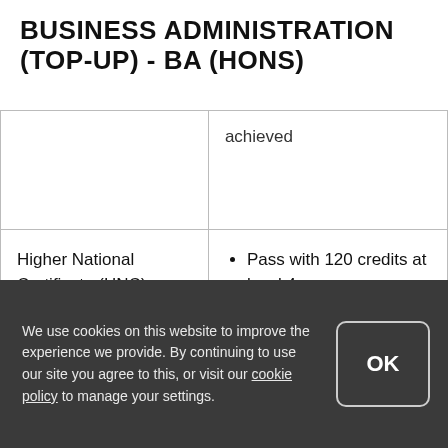BUSINESS ADMINISTRATION (TOP-UP) - BA (HONS)
|  | achieved |
| Higher National Certificate (HNC) | Pass with 120 credits at level 4
Must be in a related pathway
Subject to satisfactory… |
We use cookies on this website to improve the experience we provide. By continuing to use our site you agree to this, or visit our cookie policy to manage your settings.